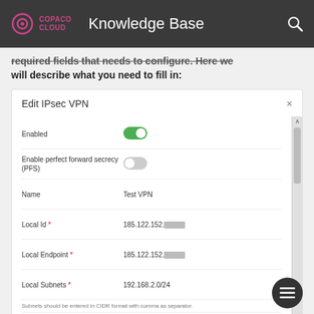COPACO CLOUD | Knowledge Base
required fields that needs to configure. Here we will describe what you need to fill in:
[Figure (screenshot): Edit IPsec VPN dialog form showing fields: Enabled (toggle on), Enable perfect forward secrecy PFS (toggle off), Name: Test VPN, Local Id: 185.122.152.[redacted], Local Endpoint: 185.122.152.[redacted], Local Subnets: 192.168.2.0/24, Peer Id: 172.16.1.10, Peer Endpoint: [redacted], Peer Subnets: 172.16.10.0/24]